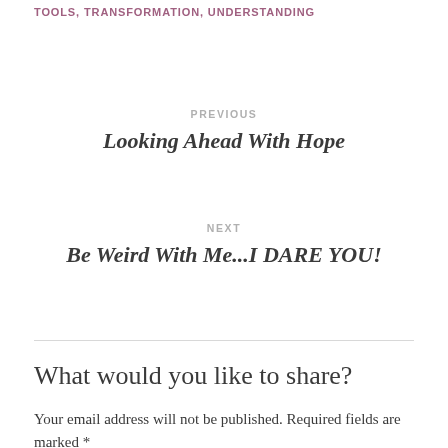TOOLS, TRANSFORMATION, UNDERSTANDING
PREVIOUS
Looking Ahead With Hope
NEXT
Be Weird With Me...I DARE YOU!
What would you like to share?
Your email address will not be published. Required fields are marked *